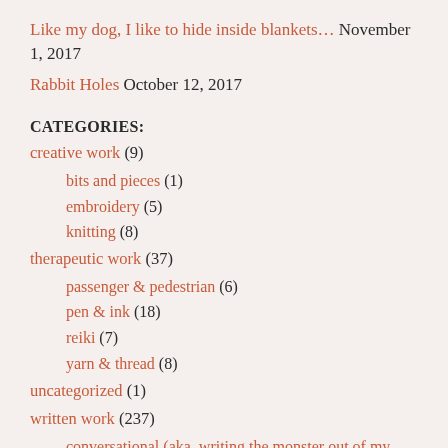Like my dog, I like to hide inside blankets… November 1, 2017
Rabbit Holes October 12, 2017
CATEGORIES:
creative work (9)
bits and pieces (1)
embroidery (5)
knitting (8)
therapeutic work (37)
passenger & pedestrian (6)
pen & ink (18)
reiki (7)
yarn & thread (8)
uncategorized (1)
written work (237)
conversational (aka, writing the monster out of my head) (65)